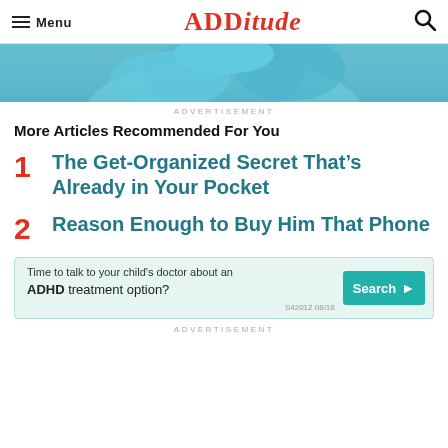Menu | ADDitude
[Figure (photo): Person wearing light blue top and blue jacket, cropped to show torso/arms]
ADVERTISEMENT
More Articles Recommended For You
1  The Get-Organized Secret That’s Already in Your Pocket
2  Reason Enough to Buy Him That Phone
[Figure (infographic): Advertisement banner: Time to talk to your child's doctor about an ADHD treatment option? Search. S42012 08/18]
ADVERTISEMENT